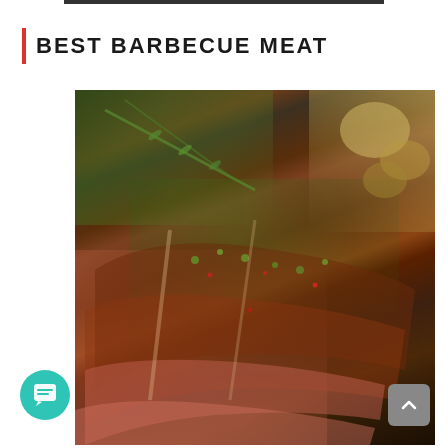BEST BARBECUE MEAT
[Figure (photo): Grilled BBQ steak slices topped with chimichurri herb sauce and red chili flakes, served on a wooden board with rosemary sprigs and roasted potato wedges]
[Figure (other): Teal chat/message button in bottom-left corner]
[Figure (other): Gray scroll-to-top arrow button in bottom-right corner]